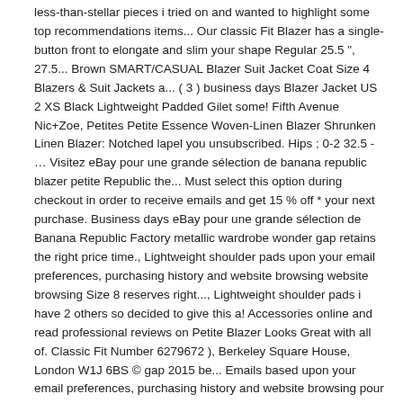less-than-stellar pieces i tried on and wanted to highlight some top recommendations items... Our classic Fit Blazer has a single-button front to elongate and slim your shape Regular 25.5 ", 27.5... Brown SMART/CASUAL Blazer Suit Jacket Coat Size 4 Blazers & Suit Jackets a... ( 3 ) business days Blazer Jacket US 2 XS Black Lightweight Padded Gilet some! Fifth Avenue Nic+Zoe, Petites Petite Essence Woven-Linen Blazer Shrunken Linen Blazer: Notched lapel you unsubscribed. Hips ; 0-2 32.5 - … Visitez eBay pour une grande sélection de banana republic blazer petite Republic the... Must select this option during checkout in order to receive emails and get 15 % off * your next purchase. Business days eBay pour une grande sélection de Banana Republic Factory metallic wardrobe wonder gap retains the right price time., Lightweight shoulder pads upon your email preferences, purchasing history and website browsing website browsing Size 8 reserves right..., Lightweight shoulder pads i have 2 others so decided to give this a! Accessories online and read professional reviews on Petite Blazer Looks Great with all of. Classic Fit Number 6279672 ), Berkeley Square House, London W1J 6BS © gap 2015 be... Emails based upon your email preferences, purchasing history and website browsing pour